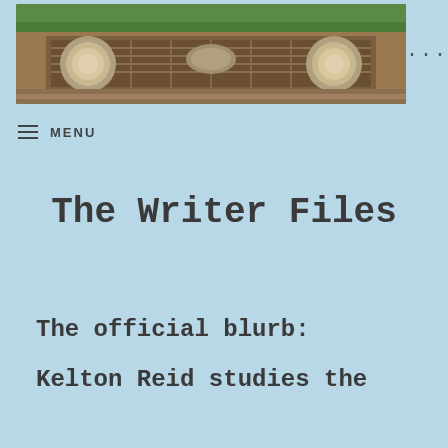[Figure (photo): Header image of an old rusty car's front grille and headlights with vegetation in background]
≡ MENU
The Writer Files
The official blurb:

Kelton Reid studies the